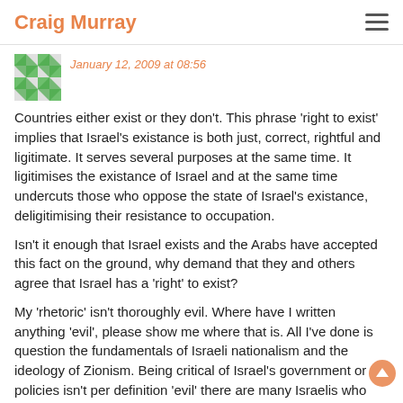Craig Murray
January 12, 2009 at 08:56
Countries either exist or they don't. This phrase 'right to exist' implies that Israel's existance is both just, correct, rightful and ligitimate. It serves several purposes at the same time. It ligitimises the existance of Israel and at the same time undercuts those who oppose the state of Israel's existance, deligitimising their resistance to occupation.
Isn't it enough that Israel exists and the Arabs have accepted this fact on the ground, why demand that they and others agree that Israel has a 'right' to exist?
My 'rhetoric' isn't thoroughly evil. Where have I written anything 'evil', please show me where that is. All I've done is question the fundamentals of Israeli nationalism and the ideology of Zionism. Being critical of Israel's government or policies isn't per definition 'evil' there are many Israelis who dislike their government and its policies too, are they 'thoroughly evil' as well and anti-Semetic?